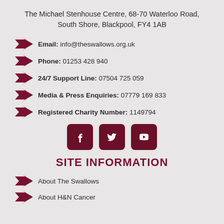The Michael Stenhouse Centre, 68-70 Waterloo Road, South Shore, Blackpool, FY4 1AB
Email: info@theswallows.org.uk
Phone: 01253 428 940
24/7 Support Line: 07504 725 059
Media & Press Enquiries: 07779 169 833
Registered Charity Number: 1149794
[Figure (infographic): Three dark red rounded square social media icon buttons: Facebook, Twitter, YouTube]
SITE INFORMATION
About The Swallows
About H&N Cancer